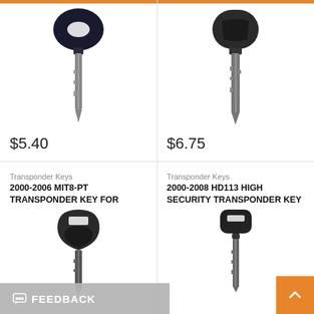[Figure (photo): Black transponder car key with oval window on head, metallic blade pointing down - left top product]
$5.40
[Figure (photo): Dark transponder car key with rounded head and long blade - right top product]
$6.75
Transponder Keys
2000-2006 MIT8-PT TRANSPONDER KEY FOR
[Figure (photo): Black transponder key with rectangular window on head, shield-shaped body and dark metallic blade]
Transponder Keys
2000-2008 HD113 HIGH SECURITY TRANSPONDER KEY
[Figure (photo): Black transponder key with rectangular head and long narrow blade]
FEEDBACK